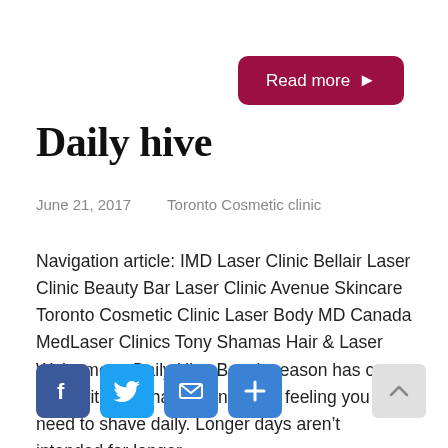[Figure (other): Read more button — dark red/maroon rounded rectangle with white text 'Read more ►']
Daily hive
June 21, 2017     Toronto Cosmetic clinic
Navigation article: IMD Laser Clinic Bellair Laser Clinic Beauty Bar Laser Clinic Avenue Skincare Toronto Cosmetic Clinic Laser Body MD Canada MedLaser Clinics Tony Shamas Hair & Laser Welcome to Daily Hive Beach season has came back with it so has that nagging feeling you need to shave daily. Longer days aren't intended for longer …
[Figure (other): Social share icons: Facebook (blue), Twitter (light blue), Email (blue envelope), Plus (blue add)]
[Figure (other): Scroll-to-top button: light grey square with upward arrow]